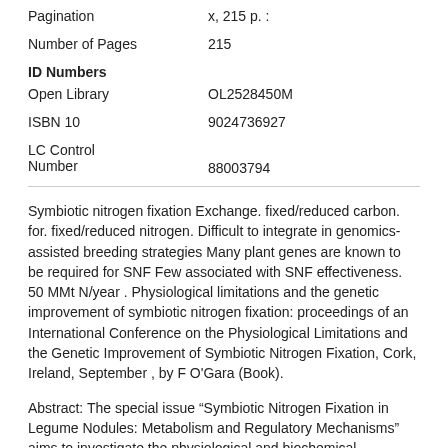| Field | Value |
| --- | --- |
| Pagination | x, 215 p. : |
| Number of Pages | 215 |
| ID Numbers |  |
| Open Library | OL2528450M |
| ISBN 10 | 9024736927 |
| LC Control Number | 88003794 |
Symbiotic nitrogen fixation Exchange. fixed/reduced carbon. for. fixed/reduced nitrogen. Difficult to integrate in genomics-assisted breeding strategies Many plant genes are known to be required for SNF Few associated with SNF effectiveness. 50 MMt N/year . Physiological limitations and the genetic improvement of symbiotic nitrogen fixation: proceedings of an International Conference on the Physiological Limitations and the Genetic Improvement of Symbiotic Nitrogen Fixation, Cork, Ireland, September , by F O'Gara (Book).
Abstract: The special issue “Symbiotic Nitrogen Fixation in Legume Nodules: Metabolism and Regulatory Mechanisms” aims to investigate the physiological and biochemical advances in the symbiotic process with an emphasis on nodule establishment, development and functioning. The original research articles included in this issue provide important.   The core of the text is aimed at the research